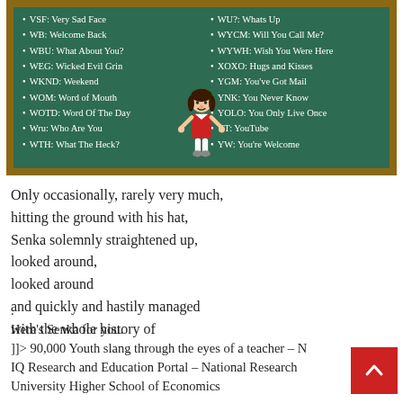[Figure (illustration): A green chalkboard with two columns of internet/text acronyms listed in white text, with a cartoon girl illustration in the center bottom. Left column: VSF: Very Sad Face, WB: Welcome Back, WBU: What About You?, WEG: Wicked Evil Grin, WKND: Weekend, WOM: Word of Mouth, WOTD: Word Of The Day, Wru: Who Are You, WTH: What The Heck?. Right column: WU?: Whats Up, WYCM: Will You Call Me?, WYWH: Wish You Were Here, XOXO: Hugs and Kisses, YGM: You've Got Mail, YNK: You Never Know, YOLO: You Only Live Once, YT: YouTube, YW: You're Welcome.]
Only occasionally, rarely very much,
hitting the ground with his hat,
Senka solemnly straightened up,
looked around,
looked around
and quickly and hastily managed
with the whole history of
.
Here's Senka for you.
]]> 90,000 Youth slang through the eyes of a teacher – N
IQ Research and Education Portal – National Research
University Higher School of Economics